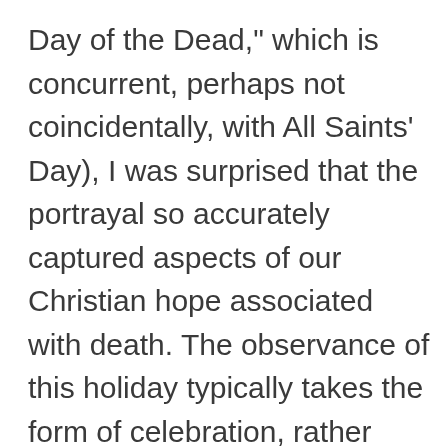Day of the Dead," which is concurrent, perhaps not coincidentally, with All Saints' Day), I was surprised that the portrayal so accurately captured aspects of our Christian hope associated with death. The observance of this holiday typically takes the form of celebration, rather than mourning – acknowledging that death is not the end and those who left this